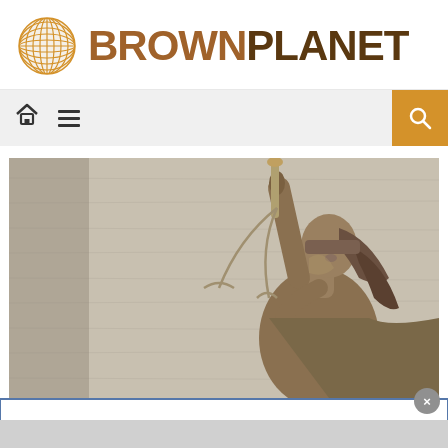[Figure (logo): BrownPlanet logo with globe icon on the left and BROWNPLANET text in brown/dark brown on the right]
[Figure (screenshot): Navigation bar with home icon, hamburger menu icon on the left, and orange search button on the right]
[Figure (photo): Photo of a Lady Justice bronze statue, blindfolded, holding scales, against a gray wood-textured background]
[Figure (screenshot): White popup overlay with close (x) button and blue border at bottom of page, with gray bar at very bottom]